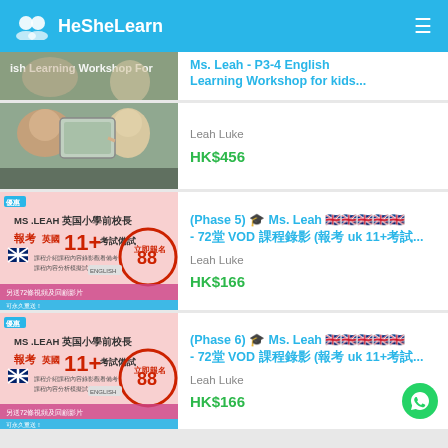HeSheLearn
[Figure (screenshot): Partial listing card at top - Ms. Leah P3-4 English Learning Workshop for kids, photo of woman and child with tablet]
Ms. Leah - P3-4 English Learning Workshop for kids...
Leah Luke
HK$456
[Figure (screenshot): MS LEAH 英国小學前校長 報考英國11+ 考試備試 banner image - pink promotional banner]
(Phase 5) 🎓 Ms. Leah 🇬🇧🇬🇧🇬🇧🇬🇧🇬🇧 - 72堂 VOD 課程錄影 (報考 uk 11+考試...
Leah Luke
HK$166
[Figure (screenshot): MS LEAH 英国小學前校長 報考英國11+ 考試備試 banner image - pink promotional banner]
(Phase 6) 🎓 Ms. Leah 🇬🇧🇬🇧🇬🇧🇬🇧🇬🇧 - 72堂 VOD 課程錄影 (報考 uk 11+考試...
Leah Luke
HK$166